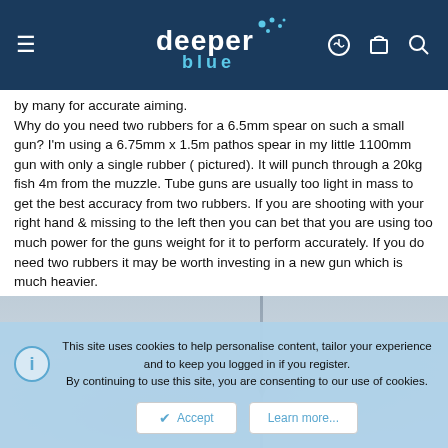deeper blue — website header with navigation icons
by many for accurate aiming.
Why do you need two rubbers for a 6.5mm spear on such a small gun? I'm using a 6.75mm x 1.5m pathos spear in my little 1100mm gun with only a single rubber ( pictured). It will punch through a 20kg fish 4m from the muzzle. Tube guns are usually too light in mass to get the best accuracy from two rubbers. If you are shooting with your right hand & missing to the left then you can bet that you are using too much power for the guns weight for it to perform accurately. If you do need two rubbers it may be worth investing in a new gun which is much heavier.
[Figure (photo): Blurred photo of a speargun spear shaft against a light grey-blue background]
This site uses cookies to help personalise content, tailor your experience and to keep you logged in if you register.
By continuing to use this site, you are consenting to our use of cookies.